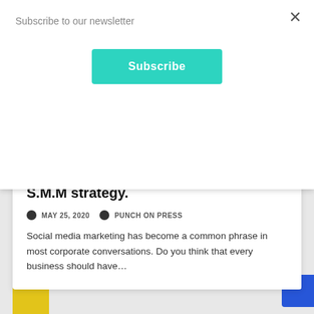Subscribe to our newsletter
×
Subscribe
DIGITAL MARKETING
SOCIAL MEDIA MARKETING
Social Media Marketing: the all-in-one S.M.M strategy.
MAY 25, 2020   PUNCH ON PRESS
Social media marketing has become a common phrase in most corporate conversations. Do you think that every business should have…
[Figure (photo): Yellow object partially visible at bottom left corner of page]